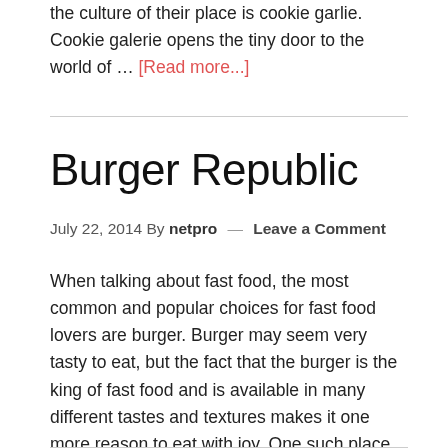the culture of their place is cookie garlie. Cookie galerie opens the tiny door to the world of … [Read more...]
Burger Republic
July 22, 2014 By netpro — Leave a Comment
When talking about fast food, the most common and popular choices for fast food lovers are burger. Burger may seem very tasty to eat, but the fact that the burger is the king of fast food and is available in many different tastes and textures makes it one more reason to eat with joy. One such place in Hongkong which provides the best textured and tasty burgers is burger … [Read more...]